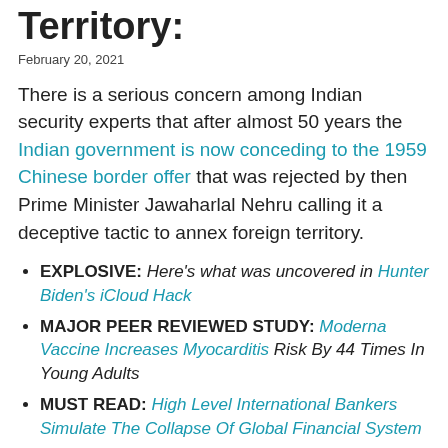Territory:
February 20, 2021
There is a serious concern among Indian security experts that after almost 50 years the Indian government is now conceding to the 1959 Chinese border offer that was rejected by then Prime Minister Jawaharlal Nehru calling it a deceptive tactic to annex foreign territory.
EXPLOSIVE: Here’s what was uncovered in Hunter Biden’s iCloud Hack
MAJOR PEER REVIEWED STUDY: Moderna Vaccine Increases Myocarditis Risk By 44 Times In Young Adults
MUST READ: High Level International Bankers Simulate The Collapse Of Global Financial System
BIG STORY: Wuhan Lab Isolated Monkeypox Strain In